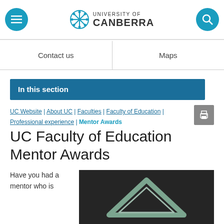University of Canberra
Contact us | Maps
In this section
UC Website | About UC | Faculties | Faculty of Education | Professional experience | Mentor Awards
UC Faculty of Education Mentor Awards
Have you had a mentor who is
[Figure (photo): Photo of an award trophy or plaque against a dark background, showing a metallic angular design]